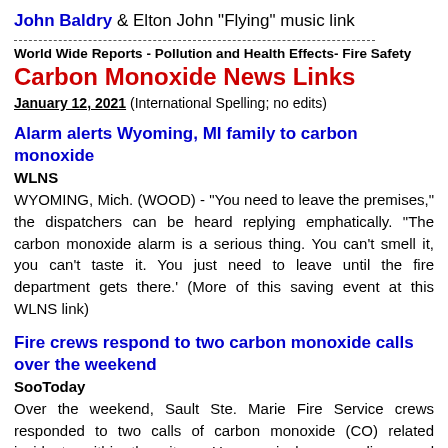John Baldry & Elton John "Flying" music link
World Wide Reports - Pollution and Health Effects- Fire Safety
Carbon Monoxide News Links
January 12, 2021 (International Spelling; no edits)
Alarm alerts Wyoming, MI family to carbon monoxide
WLNS
WYOMING, Mich. (WOOD) - “You need to leave the premises,” the dispatchers can be heard replying emphatically. “The carbon monoxide alarm is a serious thing. You can’t smell it, you can’t taste it. You just need to leave until the fire department gets there.’ (More of this saving event at this WLNS link)
Fire crews respond to two carbon monoxide calls over the weekend
SooToday
Over the weekend, Sault Ste. Marie Fire Service crews responded to two calls of carbon monoxide (CO) related incidents within the city. - Upon arrival, crews discovered notable amounts of carbon monoxide in each residence. The